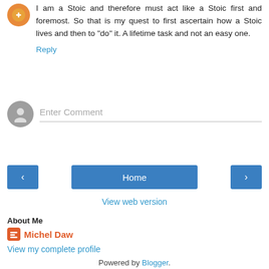I am a Stoic and therefore must act like a Stoic first and foremost. So that is my quest to first ascertain how a Stoic lives and then to "do" it. A lifetime task and not an easy one.
Reply
Enter Comment
Home
View web version
About Me
Michel Daw
View my complete profile
Powered by Blogger.